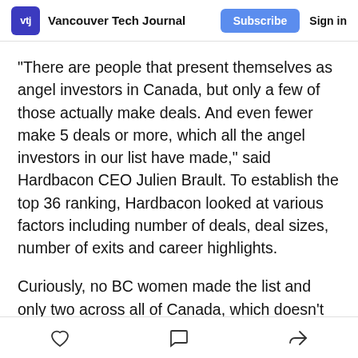vtj  Vancouver Tech Journal  Subscribe  Sign in
“There are people that present themselves as angel investors in Canada, but only a few of those actually make deals. And even fewer make 5 deals or more, which all the angel investors in our list have made,” said Hardbacon CEO Julien Brault. To establish the top 36 ranking, Hardbacon looked at various factors including number of deals, deal sizes, number of exits and career highlights.
Curiously, no BC women made the list and only two across all of Canada, which doesn’t seem quite right to me. Readers, who do you think belongs on this list?
[like] [comment] [share]